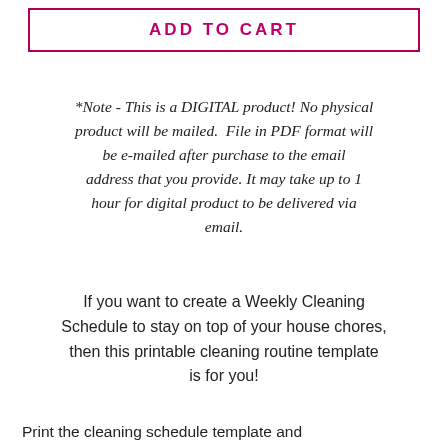ADD TO CART
*Note - This is a DIGITAL product! No physical product will be mailed.  File in PDF format will be e-mailed after purchase to the email address that you provide. It may take up to 1 hour for digital product to be delivered via email.
If you want to create a Weekly Cleaning Schedule to stay on top of your house chores, then this printable cleaning routine template is for you!
Print the cleaning schedule template and